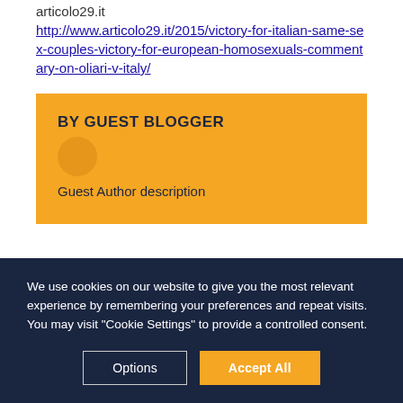articolo29.it
http://www.articolo29.it/2015/victory-for-italian-same-sex-couples-victory-for-european-homosexuals-commentary-on-oliari-v-italy/
BY GUEST BLOGGER
Guest Author description
We use cookies on our website to give you the most relevant experience by remembering your preferences and repeat visits. You may visit "Cookie Settings" to provide a controlled consent.
Options
Accept All